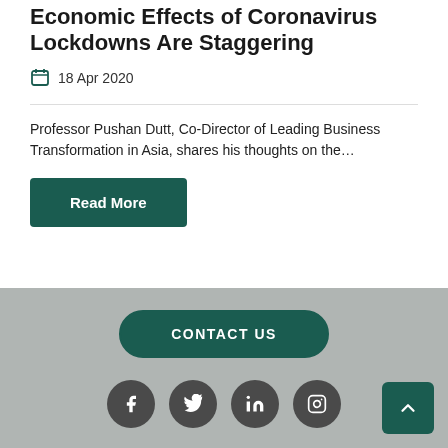Economic Effects of Coronavirus Lockdowns Are Staggering
18 Apr 2020
Professor Pushan Dutt, Co-Director of Leading Business Transformation in Asia, shares his thoughts on the…
Read More
CONTACT US
[Figure (other): Social media icons: Facebook, Twitter, LinkedIn, Instagram]
Back to top arrow button